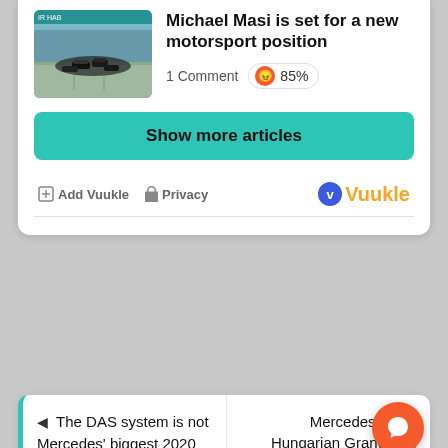[Figure (photo): Formula 1 race cars at the start of a race on a circuit, aerial/wide angle view]
Michael Masi is set for a new motorsport position
1 Comment  😠 85%
Show more articles
⊞ Add Vuukle  🔒 Privacy
[Figure (logo): Vuukle logo with orange text and blue circle V icon]
◀  The DAS system is not Mercedes' biggest 2020 innovation
Mercedes' 2020 Hungarian Grand Prix Debrief video  ▶